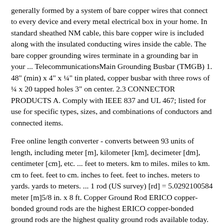generally formed by a system of bare copper wires that connect to every device and every metal electrical box in your home. In standard sheathed NM cable, this bare copper wire is included along with the insulated conducting wires inside the cable. The bare copper grounding wires terminate in a grounding bar in your ... TelecommunicationsMain Grounding Busbar (TMGB) 1. 48" (min) x 4" x ¼" tin plated, copper busbar with three rows of ¼ x 20 tapped holes 3" on center. 2.3 CONNECTOR PRODUCTS A. Comply with IEEE 837 and UL 467; listed for use for specific types, sizes, and combinations of conductors and connected items.
Free online length converter - converts between 93 units of length, including meter [m], kilometer [km], decimeter [dm], centimeter [cm], etc. ... feet to meters. km to miles. miles to km. cm to feet. feet to cm. inches to feet. feet to inches. meters to yards. yards to meters. ... 1 rod (US survey) [rd] = 5.0292100584 meter [m]5/8 in. x 8 ft. Copper Ground Rod ERICO copper-bonded ground rods are the highest ERICO copper-bonded ground rods are the highest quality ground rods available today. We use a unique manufacturing process, which includes drawing the steel rod to size before the copper bonding process begins.
Jan 22, 2021 · answered. What is the standard length of a grounding rod? A. 0.5 m. B. 1.2m. C. 3 m. D. 5 m . 1. See answer. See what the community says and unlock a badge. According to